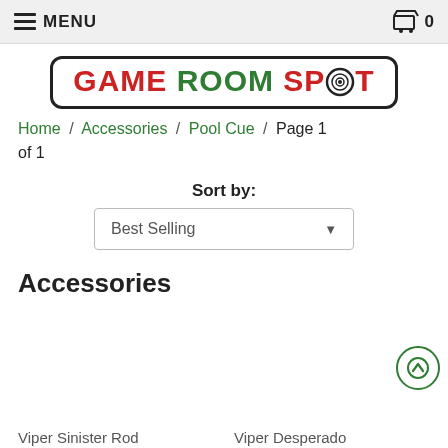MENU  0
[Figure (logo): Game Room Spot logo in a rounded rectangle border. GAME in red, ROOM in green, SPOT in red with a dartboard O.]
Home / Accessories / Pool Cue / Page 1 of 1
Sort by: Best Selling
Accessories
Viper Sinister Rod
Viper Desperado